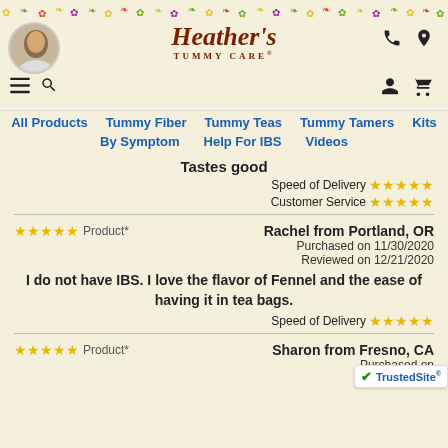Heather's Tummy Care - website header with navigation
Tastes good
Speed of Delivery ★★★★★
Customer Service ★★★★★
★★★★★ Product*    Rachel from Portland, OR
Purchased on 11/30/2020
Reviewed on 12/21/2020
I do not have IBS. I love the flavor of Fennel and the ease of having it in tea bags.
Speed of Delivery ★★★★★
★★★★★ Product*    Sharon from Fresno, CA
Purchased on ...
Reviewed on ...